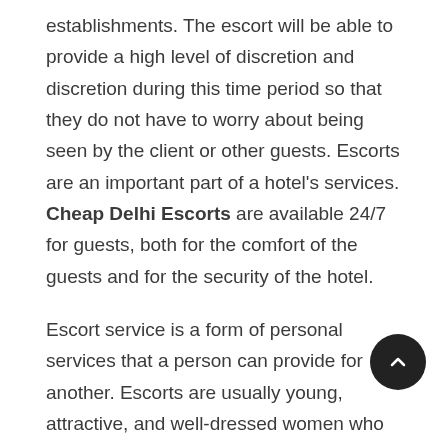establishments. The escort will be able to provide a high level of discretion and discretion during this time period so that they do not have to worry about being seen by the client or other guests. Escorts are an important part of a hotel's services. Cheap Delhi Escorts are available 24/7 for guests, both for the comfort of the guests and for the security of the hotel.
Escort service is a form of personal services that a person can provide for another. Escorts are usually young, attractive, and well-dressed women who provide companionship to their clients. In other words, they are prostitutes and they work in the hotel industry. Escorts Service in le Meridien Hotels is a popular service for el guests. They are available 24/7 and provide escor the guests who want to enjoy a night out with one of their